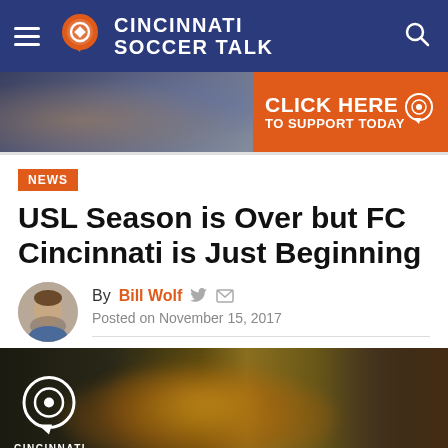Cincinnati Soccer Talk
[Figure (photo): Banner advertisement with crowd photo on left and orange 'CLICK HERE TO SUPPORT TODAY' call to action on right with Cincinnati Soccer Talk logo]
NEWS
USL Season is Over but FC Cincinnati is Just Beginning
By Bill Wolf  Posted on November 15, 2017
[Figure (photo): Hero image showing FC Cincinnati fans with orange smoke flares and Cincinnati Soccer Talk logo watermark overlay]